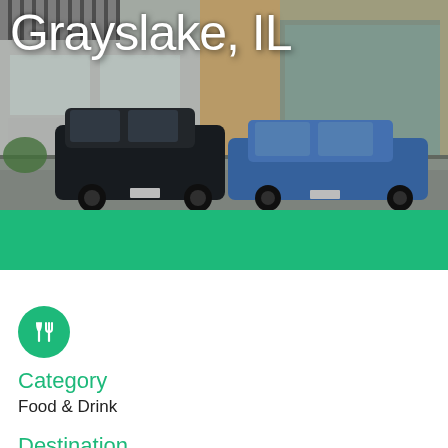Grayslake, IL
[Figure (photo): Street scene photo of Grayslake IL with parked cars in front of storefronts, overlaid with title text 'Grayslake, IL' in white]
Category
Food & Drink
Destination
Chicago
Grayslake
Long Grove